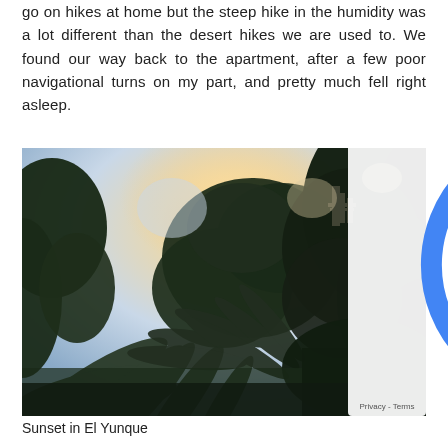go on hikes at home but the steep hike in the humidity was a lot different than the desert hikes we are used to. We found our way back to the apartment, after a few poor navigational turns on my part, and pretty much fell right asleep.
[Figure (photo): A photo looking upward through tropical trees with fern fronds and dark silhouetted canopy against a warm sunset sky of blue, pink, and orange hues. A building structure is visible in the upper center background.]
Sunset in El Yunque